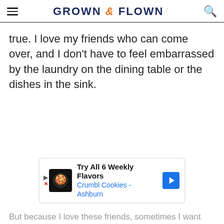GROWN & FLOWN
true. I love my friends who can come over, and I don't have to feel embarrassed by the laundry on the dining table or the dishes in the sink.
[Figure (other): Advertisement banner for Crumbl Cookies - Ashburn: Try All 6 Weekly Flavors]
But because I love these friends, sometimes I want